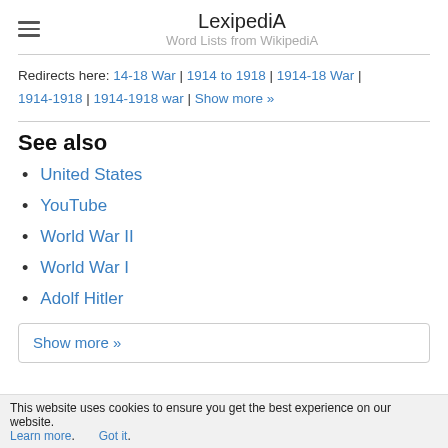LexipediA — Word Lists from WikipediA
Redirects here: 14-18 War | 1914 to 1918 | 1914-18 War | 1914-1918 | 1914-1918 war | Show more »
See also
United States
YouTube
World War II
World War I
Adolf Hitler
Show more »
This website uses cookies to ensure you get the best experience on our website. Learn more. Got it.